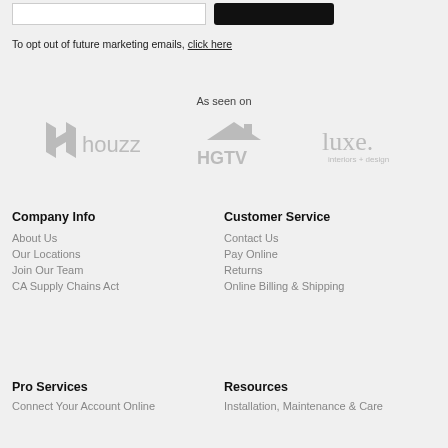To opt out of future marketing emails, click here
As seen on
[Figure (logo): Houzz logo in gray]
[Figure (logo): HGTV logo in gray]
[Figure (logo): Luxe interiors + design logo in gray]
Company Info
Customer Service
About Us
Our Locations
Join Our Team
CA Supply Chains Act
Contact Us
Pay Online
Returns
Online Billing & Shipping
Pro Services
Resources
Connect Your Account Online
Installation, Maintenance & Care